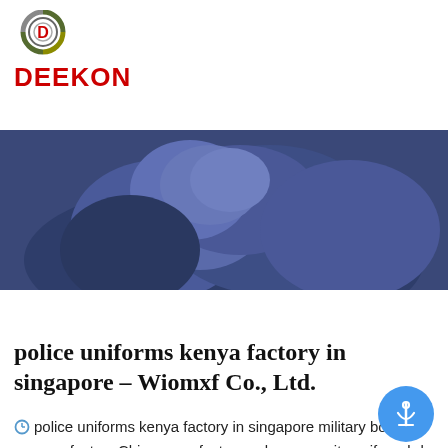[Figure (logo): DEEKON company logo with circular emblem above red bold text DEEKON]
[Figure (photo): Close-up photo of dark navy/blue folded fabric or textile material]
police uniforms kenya factory in singapore – Wiomxf Co., Ltd.
police uniforms kenya factory in singapore military boots navy us factory,China manufacture eskom security uniform,bdu military uniform price,police uniforms kenya factory We mainly focus on China supply zambia army military boots.Welcome to cooperate with us to create a wonderful future together! We advocate the vision of green, healthy and